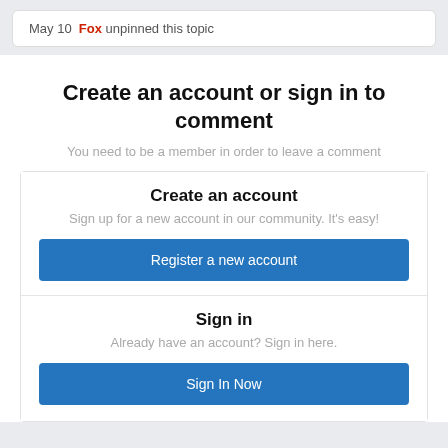May 10  Fox unpinned this topic
Create an account or sign in to comment
You need to be a member in order to leave a comment
Create an account
Sign up for a new account in our community. It's easy!
Register a new account
Sign in
Already have an account? Sign in here.
Sign In Now